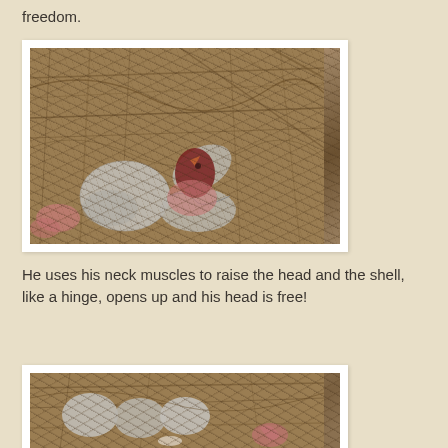freedom.
[Figure (photo): Close-up photo of hatching bird eggs in a nest made of dried grass and twigs. A chick's head and beak are emerging from a cracked egg, while an unhatched pale blue-grey egg sits nearby. Pink skin and tiny limbs are visible.]
He uses his neck muscles to raise the head and the shell, like a hinge, opens up and his head is free!
[Figure (photo): Close-up photo of bird eggs and a newly hatched chick in a nest. Several pale grey-blue eggs are visible along with a tiny pink chick beginning to emerge.]